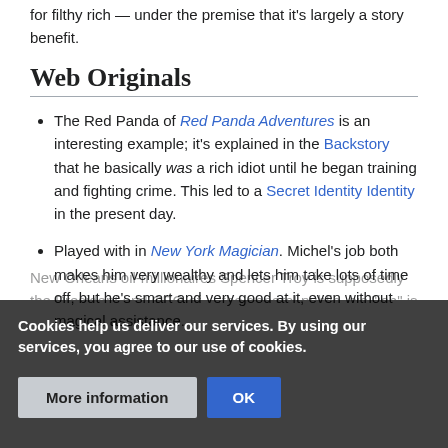for filthy rich — under the premise that it's largely a story benefit.
Web Originals
The Red Panda of Red Panda Adventures is an interesting example; it's explained in the Backstory that he basically was a rich idiot until he began training and fighting crime. This led to a Secret Identity Identity in the present day.
Played with in New York Magician. Michel's job both makes him very wealthy and lets him take lots of time off, but he's smart and very good at it, even without magical assistance.
New Orleans oil-millionaires Spencer Troy is supposedly the President and CEO of ... the general public, his "job" is fishing on the Gulf of Mexico, dating...
Cookies help us deliver our services. By using our services, you agree to our use of cookies.